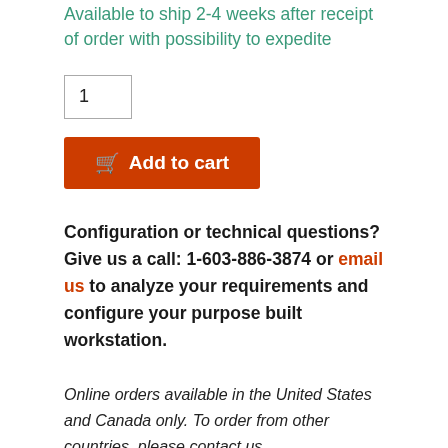Available to ship 2-4 weeks after receipt of order with possibility to expedite
1
Add to cart
Configuration or technical questions?
Give us a call: 1-603-886-3874 or email us to analyze your requirements and configure your purpose built workstation.
Online orders available in the United States and Canada only. To order from other countries, please contact us.